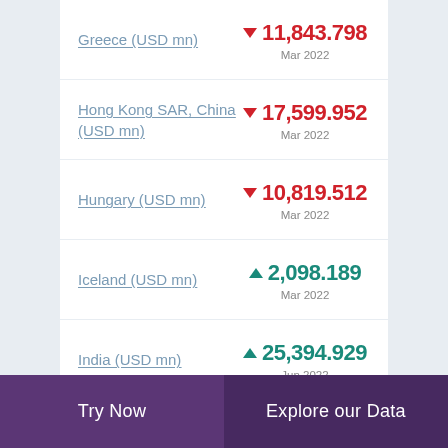Greece (USD mn) ▼ 11,843.798 Mar 2022
Hong Kong SAR, China (USD mn) ▼ 17,599.952 Mar 2022
Hungary (USD mn) ▼ 10,819.512 Mar 2022
Iceland (USD mn) ▲ 2,098.189 Mar 2022
India (USD mn) ▲ 25,394.929 Jun 2022
Try Now   Explore our Data